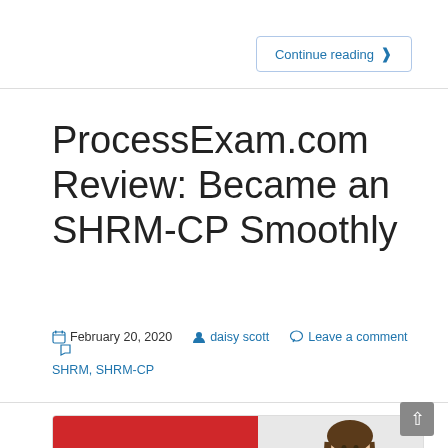Continue reading ›
ProcessExam.com Review: Became an SHRM-CP Smoothly
February 20, 2020  daisy scott  Leave a comment  SHRM, SHRM-CP
[Figure (illustration): Red banner with text 'Successfully Became SHRM' on the left, and a woman smiling on the right, on a gray background.]